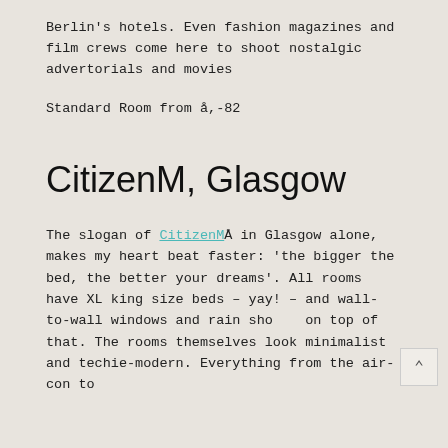Berlin's hotels. Even fashion magazines and film crews come here to shoot nostalgic advertorials and movies
Standard Room from å,-82
CitizenM, Glasgow
The slogan of CitizenMÅ in Glasgow alone, makes my heart beat faster: 'the bigger the bed, the better your dreams'. All rooms have XL king size beds – yay! – and wall-to-wall windows and rain sho on top of that. The rooms themselves look minimalist and techie-modern. Everything from the air-con to